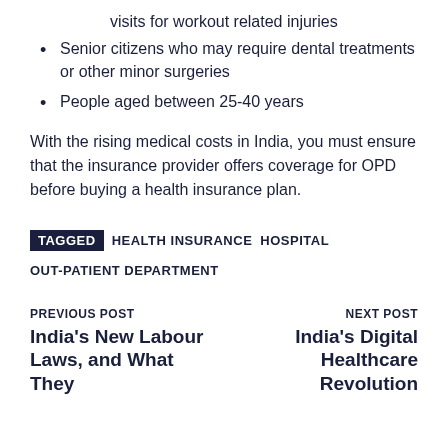visits for workout related injuries
Senior citizens who may require dental treatments or other minor surgeries
People aged between 25-40 years
With the rising medical costs in India, you must ensure that the insurance provider offers coverage for OPD before buying a health insurance plan.
TAGGED  HEALTH INSURANCE  HOSPITAL  OUT-PATIENT DEPARTMENT
PREVIOUS POST
India's New Labour Laws, and What They
NEXT POST
India's Digital Healthcare Revolution